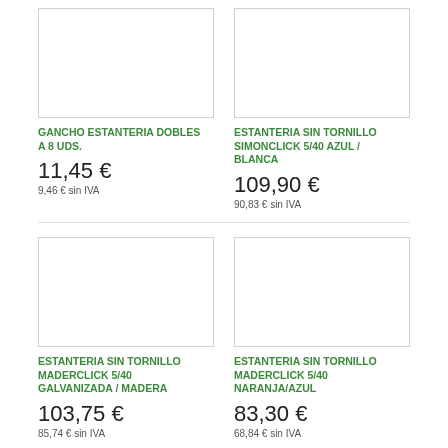[Figure (photo): Product image placeholder for GANCHO ESTANTERIA DOBLES A 8 UDS.]
[Figure (photo): Product image placeholder for ESTANTERIA SIN TORNILLO SIMONCLICK 5/40 AZUL / BLANCA]
GANCHO ESTANTERIA DOBLES A 8 UDS.
ESTANTERIA SIN TORNILLO SIMONCLICK 5/40 AZUL / BLANCA
11,45 €
109,90 €
9,46 € sin IVA
90,83 € sin IVA
[Figure (photo): Product image placeholder for ESTANTERIA SIN TORNILLO MADERCLICK 5/40 GALVANIZADA / MADERA]
[Figure (photo): Product image placeholder for ESTANTERIA SIN TORNILLO MADERCLICK 5/40 NARANJA/AZUL]
ESTANTERIA SIN TORNILLO MADERCLICK 5/40 GALVANIZADA / MADERA
ESTANTERIA SIN TORNILLO MADERCLICK 5/40 NARANJA/AZUL
103,75 €
83,30 €
85,74 € sin IVA
68,84 € sin IVA